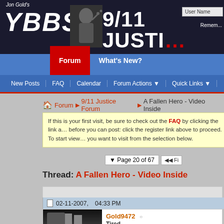[Figure (screenshot): Forum website header banner with 'Jon Gold's YBBS' and '9/11 JUSTICE' text on dark background, with a person making peace sign, and login fields]
Forum | What's New?
New Posts | FAQ | Calendar | Forum Actions | Quick Links
Forum ▶ 9/11 Justice Forum ▶ A Fallen Hero - Video Inside
If this is your first visit, be sure to check out the FAQ by clicking the link above. You may have to register before you can post: click the register link above to proceed. To start viewing messages, select the forum that you want to visit from the selection below.
Page 20 of 67
Thread: A Fallen Hero - Video Inside
02-11-2007,   04:33 PM
Gold9472
Tired...